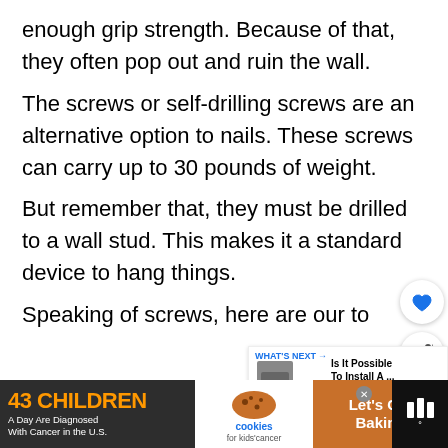enough grip strength. Because of that, they often pop out and ruin the wall.
The screws or self-drilling screws are an alternative option to nails. These screws can carry up to 30 pounds of weight.
But remember that, they must be drilled to a wall stud. This makes it a standard device to hang things.
Speaking of screws, here are our top picks
[Figure (screenshot): UI overlay with heart/like button and share button, plus a 'WHAT'S NEXT' card showing 'Is It Possible To Install A ...']
[Figure (screenshot): Advertisement banner: '43 CHILDREN A Day Are Diagnosed With Cancer in the U.S.' with cookies for kids cancer and Let's Get Baking ad]